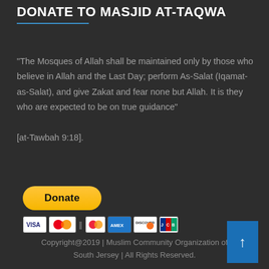DONATE TO MASJID AT-TAQWA
"The Mosques of Allah shall be maintained only by those who believe in Allah and the Last Day; perform As-Salat (Iqamat-as-Salat), and give Zakat and fear none but Allah. It is they who are expected to be on true guidance"

[at-Tawbah 9:18].
[Figure (other): PayPal Donate button with payment card icons (Visa, Mastercard, American Express, Discover, JCB)]
Copyright@2019 | Muslim Community Organization of South Jersey | All Rights Reserved.